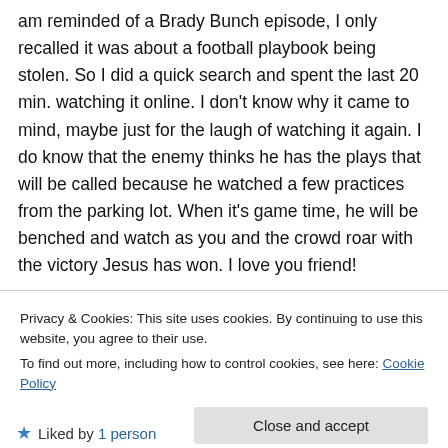am reminded of a Brady Bunch episode, I only recalled it was about a football playbook being stolen. So I did a quick search and spent the last 20 min. watching it online. I don't know why it came to mind, maybe just for the laugh of watching it again. I do know that the enemy thinks he has the plays that will be called because he watched a few practices from the parking lot. When it's game time, he will be benched and watch as you and the crowd roar with the victory Jesus has won. I love you friend!
Privacy & Cookies: This site uses cookies. By continuing to use this website, you agree to their use.
To find out more, including how to control cookies, see here: Cookie Policy
Close and accept
Liked by 1 person